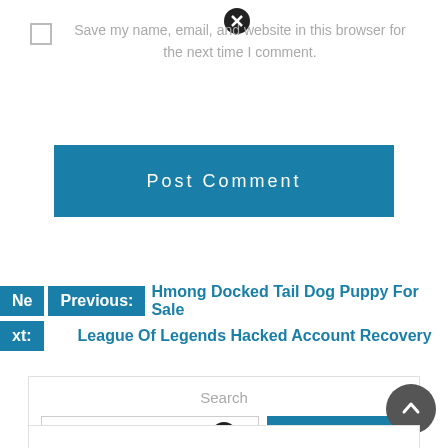Save my name, email, and website in this browser for the next time I comment.
Post Comment
Previous: Hmong Docked Tail Dog Puppy For Sale
Next: League Of Legends Hacked Account Recovery
Search
Search